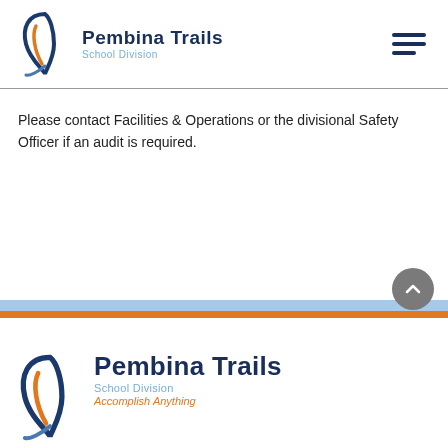[Figure (logo): Pembina Trails School Division logo with swoosh icon, title 'Pembina Trails' and subtitle 'School Division']
Please contact Facilities & Operations or the divisional Safety Officer if an audit is required.
[Figure (logo): Pembina Trails School Division footer logo with swoosh icon, title 'Pembina Trails', subtitle 'School Division', tagline 'Accomplish Anything']